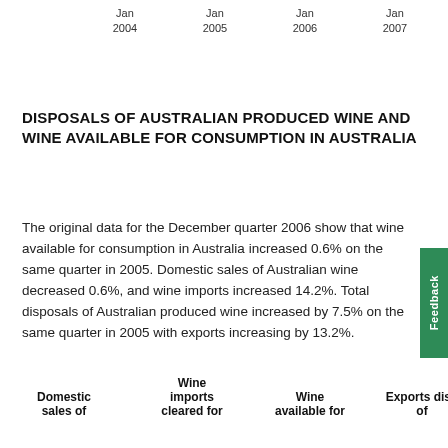[Figure (other): Partial x-axis labels from a time series chart showing Jan 2004, Jan 2005, Jan 2006, Jan 2007]
DISPOSALS OF AUSTRALIAN PRODUCED WINE AND WINE AVAILABLE FOR CONSUMPTION IN AUSTRALIA
The original data for the December quarter 2006 show that wine available for consumption in Australia increased 0.6% on the same quarter in 2005. Domestic sales of Australian wine decreased 0.6%, and wine imports increased 14.2%. Total disposals of Australian produced wine increased by 7.5% on the same quarter in 2005 with exports increasing by 13.2%.
| Domestic sales of | Wine imports cleared for | Wine available for | Exports disp of |
| --- | --- | --- | --- |